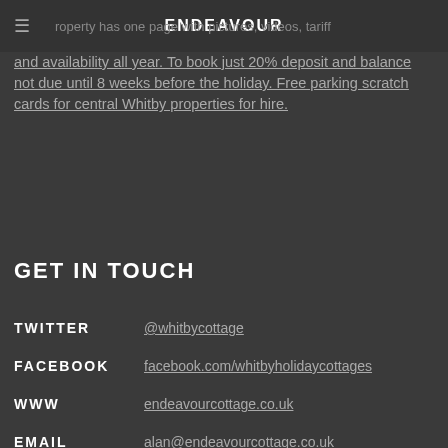ENDEAVOUR
and availability all year. To book just 20% deposit and balance not due until 8 weeks before the holiday. Free parking scratch cards for central Whitby properties for hire.
GET IN TOUCH
TWITTER  @whitbycottage
FACEBOOK  facebook.com/whitbyholidaycottages
WWW  endeavourcottage.co.uk
EMAIL  alan@endeavourcottage.co.uk
ADDRESS  2 Haydocks Place  Whitby  YO213BW